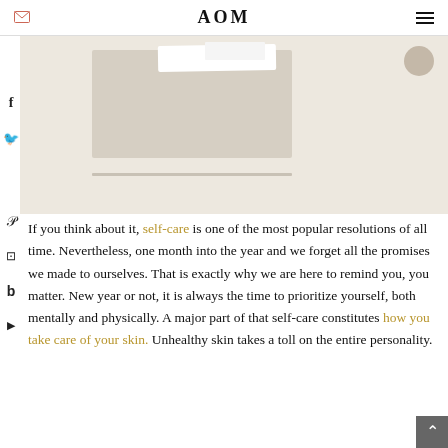AOM
[Figure (photo): Flatlay photo of beige/cream colored stationery or product cards arranged on a light textured background, with a circular object at upper right.]
If you think about it, self-care is one of the most popular resolutions of all time. Nevertheless, one month into the year and we forget all the promises we made to ourselves. That is exactly why we are here to remind you, you matter. New year or not, it is always the time to prioritize yourself, both mentally and physically. A major part of that self-care constitutes how you take care of your skin. Unhealthy skin takes a toll on the entire personality.